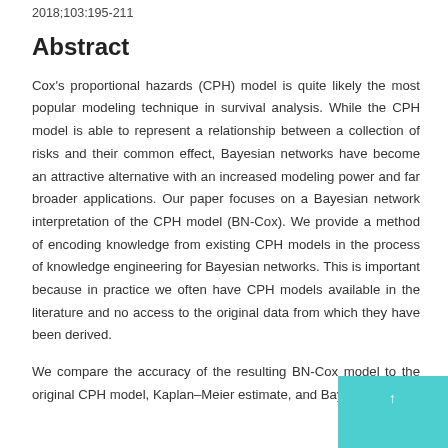2018;103:195-211
Abstract
Cox’s proportional hazards (CPH) model is quite likely the most popular modeling technique in survival analysis. While the CPH model is able to represent a relationship between a collection of risks and their common effect, Bayesian networks have become an attractive alternative with an increased modeling power and far broader applications. Our paper focuses on a Bayesian network interpretation of the CPH model (BN-Cox). We provide a method of encoding knowledge from existing CPH models in the process of knowledge engineering for Bayesian networks. This is important because in practice we often have CPH models available in the literature and no access to the original data from which they have been derived.
We compare the accuracy of the resulting BN-Cox model to the original CPH model, Kaplan–Meier estimate, and Bayesian